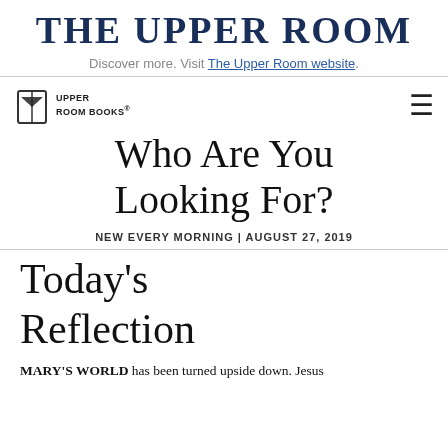THE UPPER ROOM
Discover more. Visit The Upper Room website.
[Figure (logo): Upper Room Books logo with open book icon]
Who Are You Looking For?
NEW EVERY MORNING | AUGUST 27, 2019
Today's Reflection
MARY'S WORLD has been turned upside down. Jesus